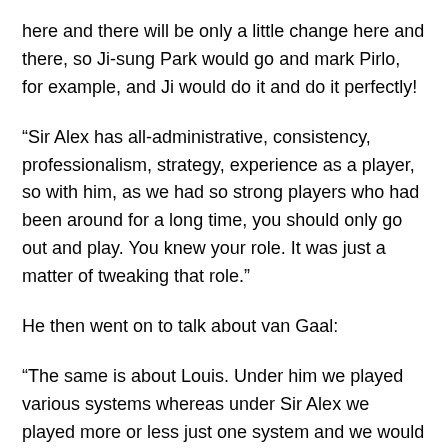here and there will be only a little change here and there, so Ji-sung Park would go and mark Pirlo, for example, and Ji would do it and do it perfectly!
“Sir Alex has all-administrative, consistency, professionalism, strategy, experience as a player, so with him, as we had so strong players who had been around for a long time, you should only go out and play. You knew your role. It was just a matter of tweaking that role.”
He then went on to talk about van Gaal:
“The same is about Louis. Under him we played various systems whereas under Sir Alex we played more or less just one system and we would tweak it.”
“He’d come from Holland and also from an international background and he took that into the football club, so we had